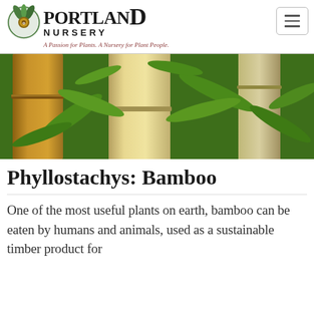Portland Nursery — A Passion for Plants. A Nursery for Plant People.
[Figure (photo): Close-up photograph of bamboo stalks (Phyllostachys) with golden-tan culms and bright green leaves in the background]
Phyllostachys: Bamboo
One of the most useful plants on earth, bamboo can be eaten by humans and animals, used as a sustainable timber product for